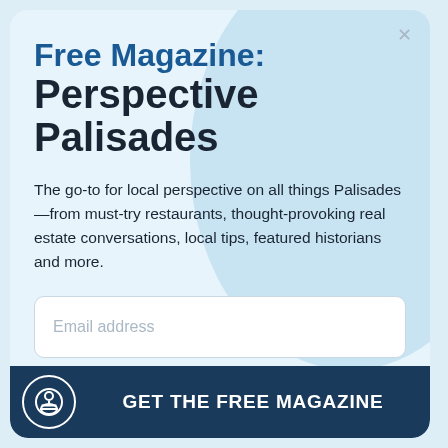Free Magazine: Perspective Palisades
The go-to for local perspective on all things Palisades—from must-try restaurants, thought-provoking real estate conversations, local tips, featured historians and more.
Email address
GET THE FREE MAGAZINE